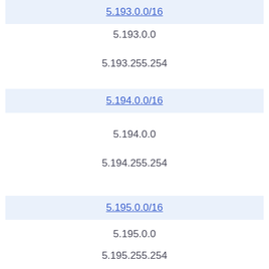5.193.0.0/16
5.193.0.0
5.193.255.254
5.194.0.0/16
5.194.0.0
5.194.255.254
5.195.0.0/16
5.195.0.0
5.195.255.254